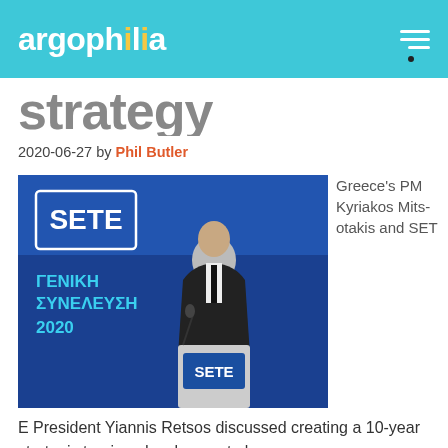argophilia
...strategy
2020-06-27 by Phil Butler
[Figure (photo): A man in a dark suit speaking at a podium with SETE branding. Behind him is a blue backdrop with 'SETE' logo and text reading 'ΓΕΝΙΚΗ ΣΥΝΕΛΕΥΣΗ 2020'.]
Greece's PM Kyriakos Mitsotakis and SETE President Yiannis Retsos discussed creating a 10-year strategic tourism development plan.